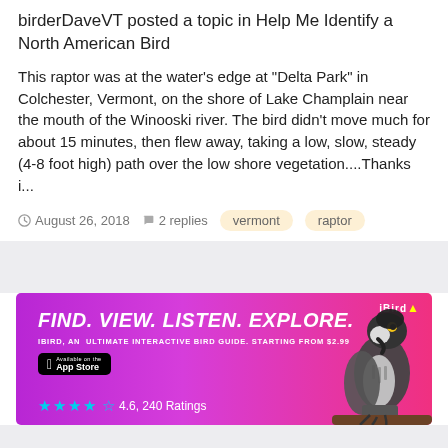birderDaveVT posted a topic in Help Me Identify a North American Bird
This raptor was at the water's edge at "Delta Park" in Colchester, Vermont, on the shore of Lake Champlain near the mouth of the Winooski river. The bird didn't move much for about 15 minutes, then flew away, taking a low, slow, steady (4-8 foot high) path over the low shore vegetation....Thanks i...
August 26, 2018  2 replies  vermont  raptor
[Figure (infographic): iBird app advertisement banner with purple/pink gradient background. Shows text: FIND. VIEW. LISTEN. EXPLORE. iBIRD, AN ULTIMATE INTERACTIVE BIRD GUIDE. STARTING FROM $2.99. App Store badge. 4.6, 240 Ratings with cyan stars. Falcon/hawk bird illustration on right side.]
Contact Us
Powered by Invision Community